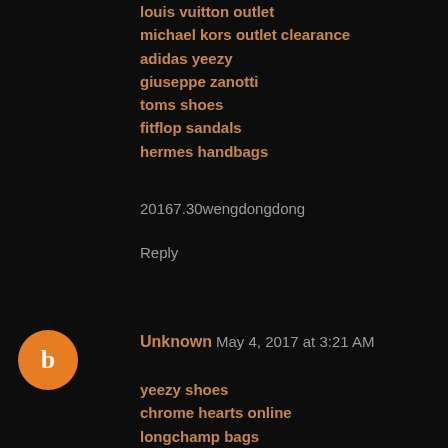louis vuitton outlet
michael kors outlet clearance
adidas yeezy
giuseppe zanotti
toms shoes
fitflop sandals
hermes handbags
20167.30wengdongdong
Reply
[Figure (other): Blogger avatar icon - orange circle with white 'b' letter]
Unknown May 4, 2017 at 3:21 AM
yeezy shoes
chrome hearts online
longchamp bags
lebron james shoes
hogan outlet
nike zoom
chrome hearts online
true religion
chrome hearts
stephen curry shoes